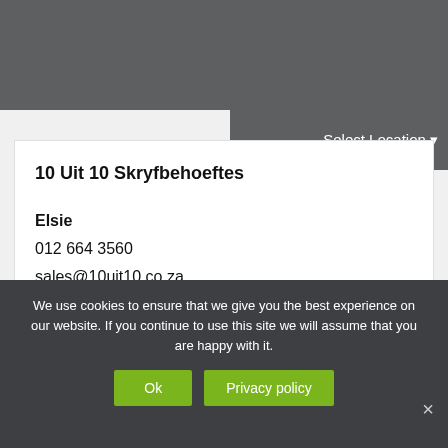Select Location
10 Uit 10 Skryfbehoeftes
Elsie
012 664 3560
sales@10uit10.co.za
We use cookies to ensure that we give you the best experience on our website. If you continue to use this site we will assume that you are happy with it.